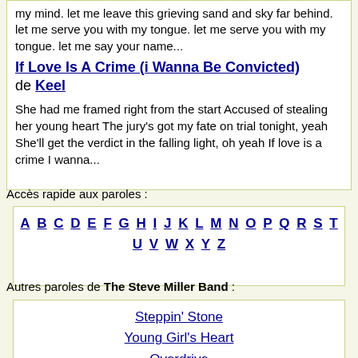my mind. let me leave this grieving sand and sky far behind. let me serve you with my tongue. let me serve you with my tongue. let me say your name...
If Love Is A Crime (i Wanna Be Convicted)
de Keel
She had me framed right from the start Accused of stealing her young heart The jury's got my fate on trial tonight, yeah She'll get the verdict in the falling light, oh yeah If love is a crime I wanna...
Accès rapide aux paroles :
[Figure (other): Alphabet navigation links A B C D E F G H I J K L M N O P Q R S T U V W X Y Z]
Autres paroles de The Steve Miller Band :
Steppin' Stone
Young Girl's Heart
Overdrive
Radio 1
Your Saving Grace